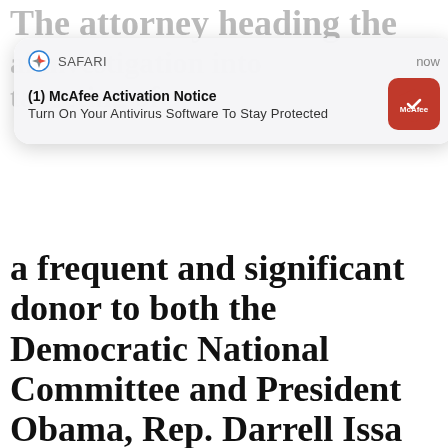The attorney heading the
al investigation into
targeting of
[Figure (screenshot): Safari browser push notification overlay showing McAfee Activation Notice: 'Turn On Your Antivirus Software To Stay Protected', with McAfee red shield logo icon, timestamp 'now']
a frequent and significant donor to both the Democratic National Committee and President Obama, Rep. Darrell Issa revealed today, in what he calls a “startling conflict of interest” that jeopardizes the
[Figure (infographic): Promoted ad: 'A Teaspoon On An Empty Stomach Burns Fat Like Crazy!' with 85,623 engagements, showing woman and spice image]
[Figure (infographic): Promoted ad: 'Most People Don't Know These Facts About Jen Psaki (#2 Is Shocking!)' with 32,237 engagements, showing photos of Jen Psaki and Joe Biden]